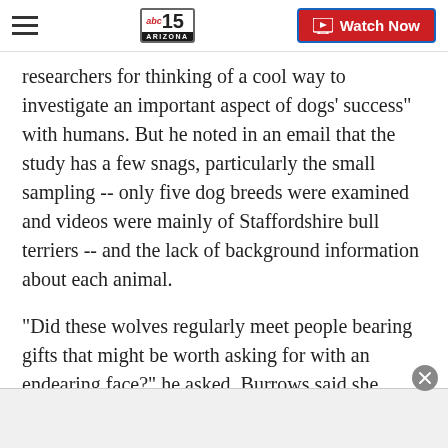abc15 ARIZONA — Watch Now
researchers for thinking of a cool way to investigate an important aspect of dogs' success" with humans. But he noted in an email that the study has a few snags, particularly the small sampling -- only five dog breeds were examined and videos were mainly of Staffordshire bull terriers -- and the lack of background information about each animal.
"Did these wolves regularly meet people bearing gifts that might be worth asking for with an endearing face?" he asked. Burrows said she planned follow-up studies to examine more breeds.